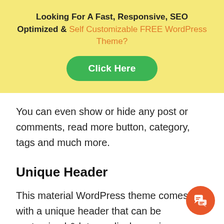[Figure (infographic): Yellow banner with bold text 'Looking For A Fast, Responsive, SEO Optimized & Self Customizable FREE WordPress Theme?' and a green 'Click Here' button below.]
You can even show or hide any post or comments, read more button, category, tags and much more.
Unique Header
This material WordPress theme comes with a unique header that can be customized & let you display various information, social links, log and more.